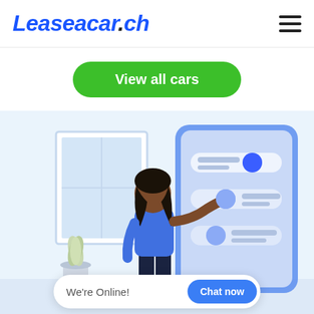Leaseacar.ch
View all cars
[Figure (illustration): Illustration of a woman in a blue shirt interacting with a large smartphone or tablet displaying toggle switches/settings. Background shows a light blue room with a framed window and a small plant. The woman is reaching out to tap one of the toggle controls on the screen.]
We're Online!  Chat now